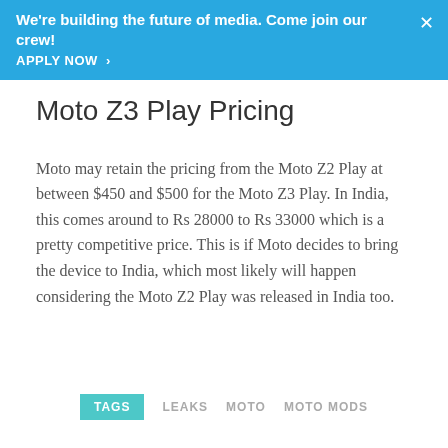We're building the future of media. Come join our crew! APPLY NOW ›
Moto Z3 Play Pricing
Moto may retain the pricing from the Moto Z2 Play at between $450 and $500 for the Moto Z3 Play. In India, this comes around to Rs 28000 to Rs 33000 which is a pretty competitive price. This is if Moto decides to bring the device to India, which most likely will happen considering the Moto Z2 Play was released in India too.
TAGS  LEAKS  MOTO  MOTO MODS